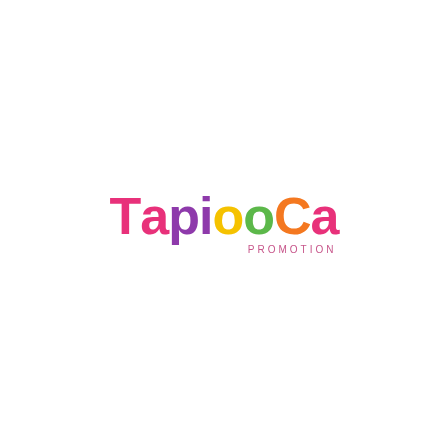[Figure (logo): TapiooCa Promotion logo. The word 'TapiooCa' is rendered in large bold sans-serif letters with each letter or pair in a different color: T and A in pink/magenta, p and i in purple, oo in yellow and green, C in orange, a in pink. Below the main word, 'PROMOTION' is written in small spaced pink letters.]